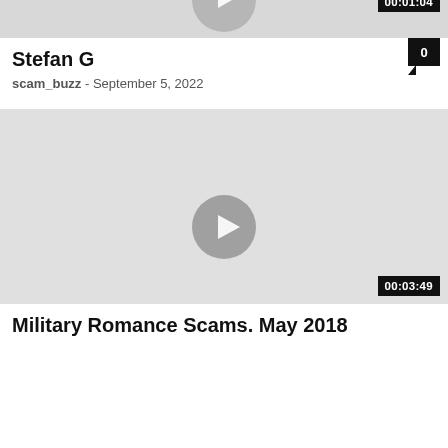[Figure (screenshot): Video thumbnail placeholder (gray) with partial play button visible at top, for 'Stefan G' video]
00:01:04
Stefan G
scam_buzz  -  September 5, 2022
[Figure (screenshot): Video thumbnail placeholder (gray) with play button centered, for 'Military Romance Scams May 2018' video]
00:03:49
Military Romance Scams. May 2018